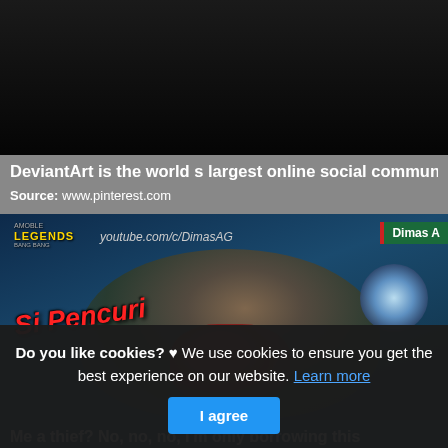[Figure (screenshot): Dark/black top image area, appears to be a cropped screenshot upper portion]
DeviantArt is the world s largest online social community
Source: www.pinterest.com
[Figure (screenshot): Mobile Legends game screenshot showing a character with 'Si Pencuri' text in red, youtube.com/c/DimasAG watermark, Dimas A badge, and bottom caption 'Me a thief? No, no, no, I'm only borrowing this']
Do you like cookies? ♥ We use cookies to ensure you get the best experience on our website. Learn more
I agree